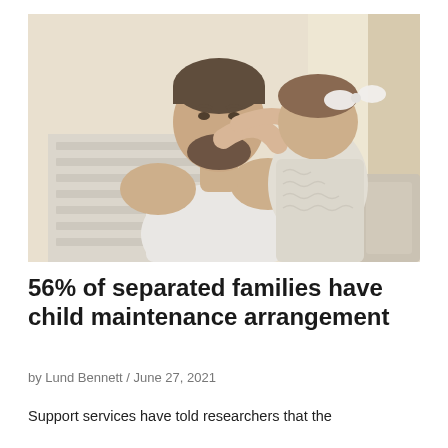[Figure (photo): A father and young daughter hugging, sitting on a white bench. The child has a white bow in her hair and is reaching up around the father's neck. Warm indoor lighting.]
56% of separated families have child maintenance arrangement
by Lund Bennett / June 27, 2021
Support services have told researchers that the